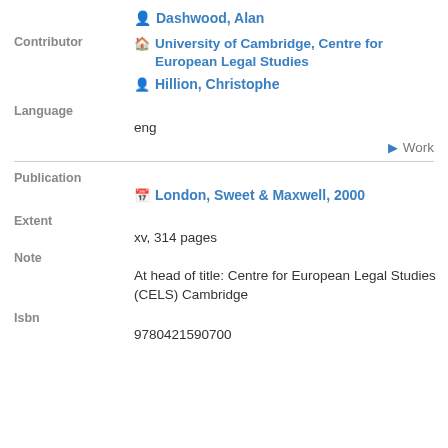Dashwood, Alan
Contributor
University of Cambridge, Centre for European Legal Studies
Hillion, Christophe
Language
eng
Work
Publication
London, Sweet & Maxwell, 2000
Extent
xv, 314 pages
Note
At head of title: Centre for European Legal Studies (CELS) Cambridge
Isbn
9780421590700